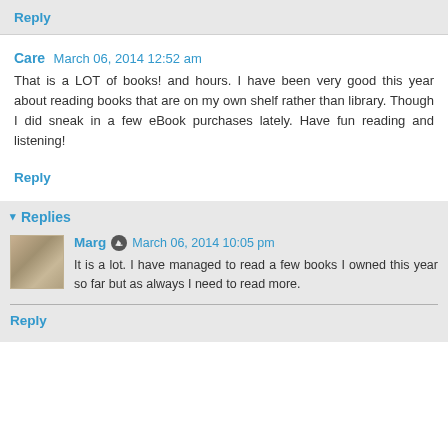Reply
Care  March 06, 2014 12:52 am
That is a LOT of books! and hours. I have been very good this year about reading books that are on my own shelf rather than library. Though I did sneak in a few eBook purchases lately. Have fun reading and listening!
Reply
Replies
Marg  March 06, 2014 10:05 pm
It is a lot. I have managed to read a few books I owned this year so far but as always I need to read more.
Reply